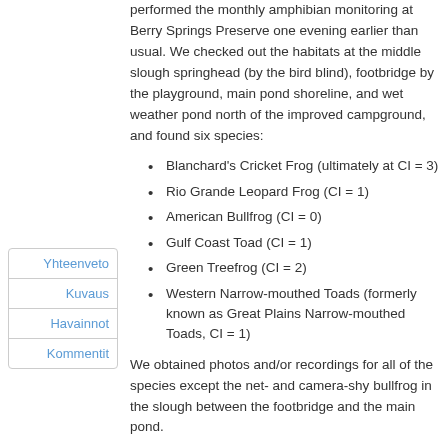performed the monthly amphibian monitoring at Berry Springs Preserve one evening earlier than usual. We checked out the habitats at the middle slough springhead (by the bird blind), footbridge by the playground, main pond shoreline, and wet weather pond north of the improved campground, and found six species:
Blanchard's Cricket Frog (ultimately at CI = 3)
Rio Grande Leopard Frog (CI = 1)
American Bullfrog (CI = 0)
Gulf Coast Toad (CI = 1)
Green Treefrog (CI = 2)
Western Narrow-mouthed Toads (formerly known as Great Plains Narrow-mouthed Toads, CI = 1)
We obtained photos and/or recordings for all of the species except the net- and camera-shy bullfrog in the slough between the footbridge and the main pond.
The monitoring period was 20:20 - 22:00.
Yhteenveto
Kuvaus
Havainnot
Kommentit